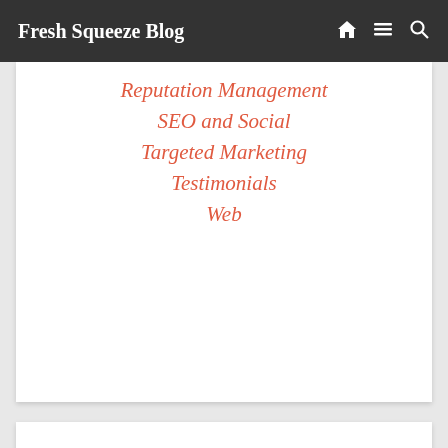Fresh Squeeze Blog
Reputation Management
SEO and Social
Targeted Marketing
Testimonials
Web
Authors
Naked Lime Marketing
Archives